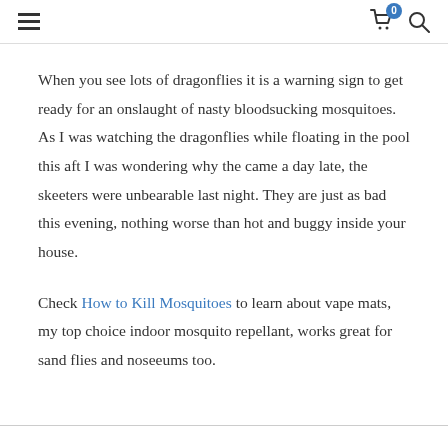≡  🛒 0  🔍
When you see lots of dragonflies it is a warning sign to get ready for an onslaught of nasty bloodsucking mosquitoes. As I was watching the dragonflies while floating in the pool this aft I was wondering why the came a day late, the skeeters were unbearable last night. They are just as bad this evening, nothing worse than hot and buggy inside your house.
Check How to Kill Mosquitoes to learn about vape mats, my top choice indoor mosquito repellant, works great for sand flies and noseeums too.